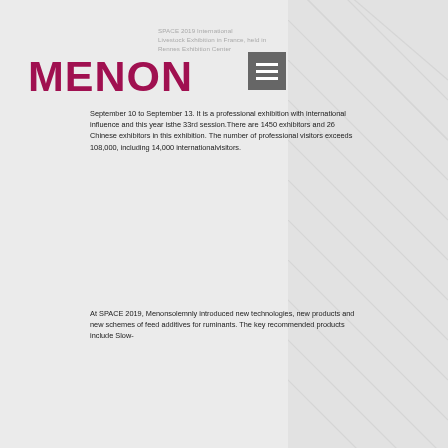SPACE 2019 International Livestock Exhibition in France, held in Rennes Exhibition Center
[Figure (logo): MENON logo in dark red/crimson bold text]
[Figure (other): Hamburger menu icon (three horizontal lines on grey background)]
September 10 to September 13. It is a professional exhibition with international influence and this year isthe 33rd session.There are 1450 exhibitors and 26 Chinese exhibitors in this exhibition. The number of professional visitors exceeds 108,000, including 14,000 internationalvisitors.
At SPACE 2019, Menonsolemnly introduced new technologies, new products and new schemes of feed additives for ruminants. The key recommended products include Slow-